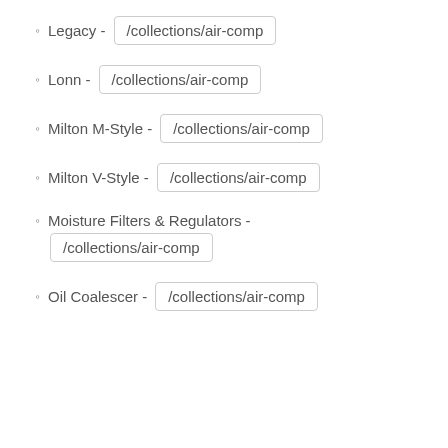Legacy - /collections/air-comp
Lonn - /collections/air-comp
Milton M-Style - /collections/air-comp
Milton V-Style - /collections/air-comp
Moisture Filters & Regulators - /collections/air-comp
Oil Coalescer - /collections/air-comp